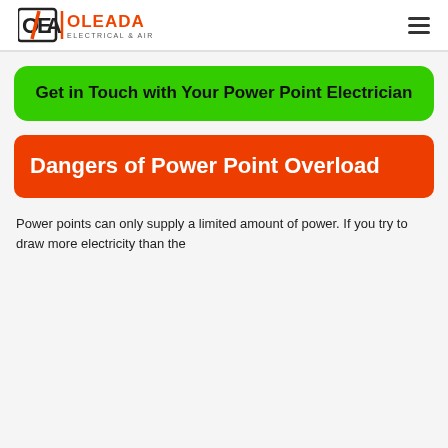[Figure (logo): Oleada Electrical & Air logo with stylized OEA letters and orange lightning bolt]
Get in Touch with Your Power Point Electrician
Dangers of Power Point Overload
Power points can only supply a limited amount of power. If you try to draw more electricity than the